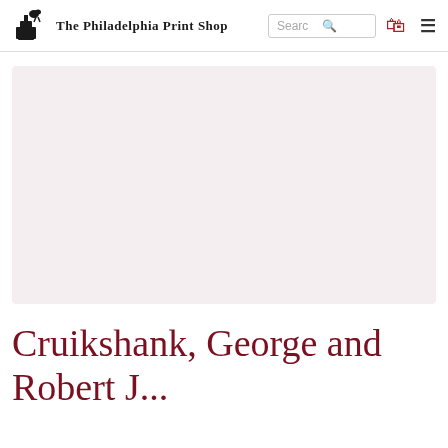The Philadelphia Print Shop
[Figure (photo): Large light pinkish-beige placeholder image area for a product photo]
Cruikshank, George and Robert J...